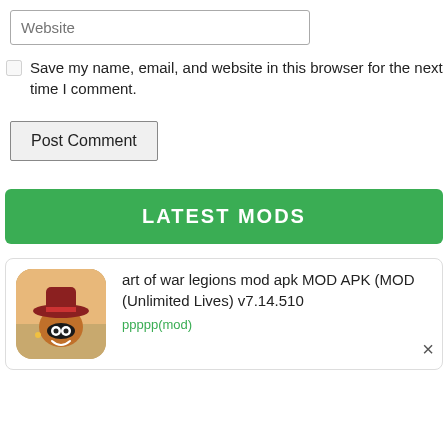Website
Save my name, email, and website in this browser for the next time I comment.
Post Comment
LATEST MODS
art of war legions mod apk MOD APK (MOD (Unlimited Lives) v7.14.510
ppppp(mod)